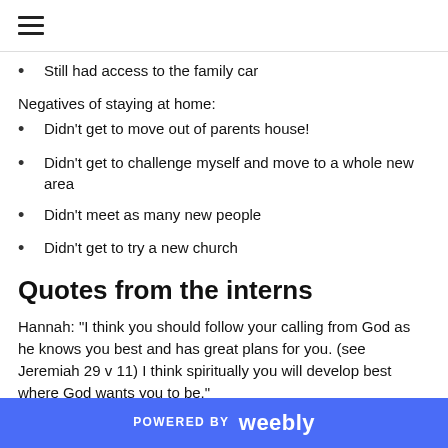≡
Still had access to the family car
Negatives of staying at home:
Didn't get to move out of parents house!
Didn't get to challenge myself and move to a whole new area
Didn't meet as many new people
Didn't get to try a new church
Quotes from the interns
Hannah: "I think you should follow your calling from God as he knows you best and has great plans for you. (see Jeremiah 29 v 11) I think spiritually you will develop best where God wants you to be."
Ron: "Internship... No new Long tiring days. Infuriating as
POWERED BY weebly